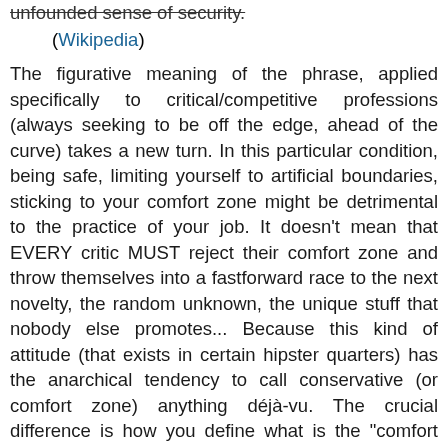unfounded sense of security.
(Wikipedia)
The figurative meaning of the phrase, applied specifically to critical/competitive professions (always seeking to be off the edge, ahead of the curve) takes a new turn. In this particular condition, being safe, limiting yourself to artificial boundaries, sticking to your comfort zone might be detrimental to the practice of your job. It doesn't mean that EVERY critic MUST reject their comfort zone and throw themselves into a fastforward race to the next novelty, the random unknown, the unique stuff that nobody else promotes... Because this kind of attitude (that exists in certain hipster quarters) has the anarchical tendency to call conservative (or comfort zone) anything déjà-vu. The crucial difference is how you define what is the "comfort zone" and what is revolutionary. We've seen how some critics feel better about themselves by trashing so-called "non-fast cinema" as if it was a (homogeneous) style that lasts too long, looks too old, out of touch with MTV frantic cutting... Totally oblivious of a wider context where "intensified continuity" is just as old and a very superficial imitation of contemporary technologically-addict lifestyles. It's all a matter of point of view. Yet certain critics